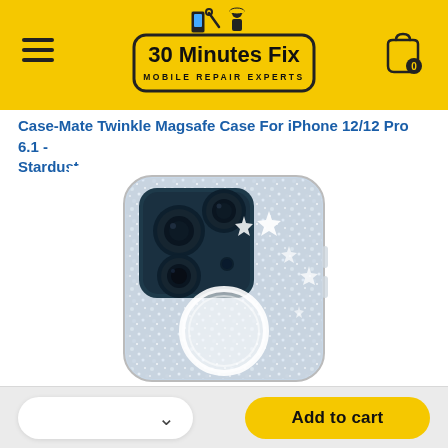[Figure (logo): 30 Minutes Fix - Mobile Repair Experts logo in a rounded rectangle border on yellow background, with hamburger menu icon on left and cart icon with badge '0' on right]
Case-Mate Twinkle Magsafe Case For iPhone 12/12 Pro 6.1 - Stardust
[Figure (photo): Case-Mate Twinkle Magsafe Case for iPhone 12/12 Pro in Stardust finish - sparkly glitter clear case with MagSafe ring, showing the back of a blue iPhone 12 Pro with triple camera system]
Add to cart